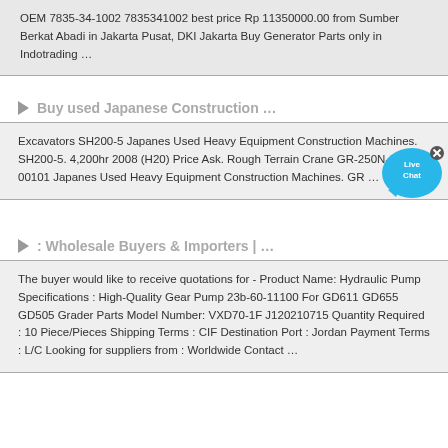OEM 7835-34-1002 7835341002 best price Rp 11350000.00 from Sumber Berkat Abadi in Jakarta Pusat, DKI Jakarta Buy Generator Parts only in Indotrading …
Buy used Japanese Construction …
Excavators SH200-5 Japanes Used Heavy Equipment Construction Machines. SH200-5. 4,200hr 2008 (H20) Price Ask. Rough Terrain Crane GR-250N-1-00101 Japanes Used Heavy Equipment Construction Machines. GR …
: Wholesale Buyers & Importers | …
The buyer would like to receive quotations for - Product Name: Hydraulic Pump Specifications : High-Quality Gear Pump 23b-60-11100 For GD611 GD655 GD505 Grader Parts Model Number: VXD70-1F J120210715 Quantity Required : 10 Piece/Pieces Shipping Terms : CIF Destination Port : Jordan Payment Terms : L/C Looking for suppliers from : Worldwide Contact …